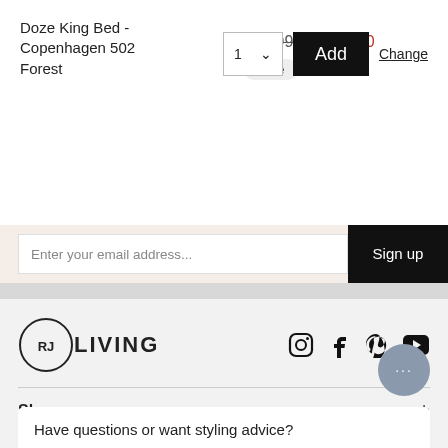Doze King Bed - Copenhagen 502 Forest
$2,099  $1,889.10
Sale
1  Add  Change
Enter your email address...  Sign up
[Figure (logo): RJ Living logo with circle containing RJ and text LIVING]
[Figure (infographic): Social media icons: Instagram, Facebook, Pinterest, YouTube]
Shop
Explore
Help & Services
Have questions or want styling advice?